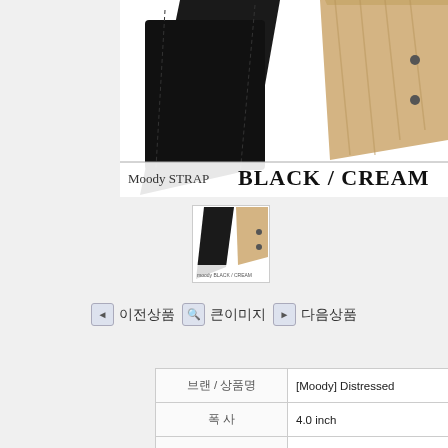[Figure (photo): Product photo of Moody Strap BLACK/CREAM guitar strap with dark leather and cream/wood ends, labeled 'Moody STRAP BLACK / CREAM']
[Figure (photo): Small thumbnail of the Moody Strap BLACK/CREAM product]
이전상품  큰이미지  다음상품
| 속성 | 값 |
| --- | --- |
| 브랜 / 상품명 | [Moody] Distressed... |
| 폭  사 | 4.0 inch |
| 색  상 | Black/Cream |
| 소  재 | Distressed Leather |
| 조절범위 | Standard 93cm ~ 12... |
| 기본구성품목 | 기본포함 |